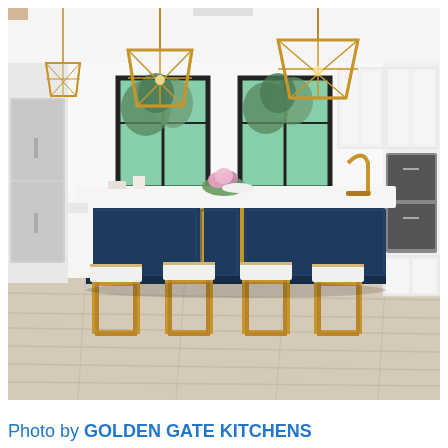[Figure (photo): Interior photograph of a modern luxury kitchen featuring a large navy blue kitchen island with white quartz countertop, four white upholstered bar stools with gold/brass frames, two gold geometric pendant lantern lights hanging from the ceiling, black-framed windows in the background showing greenery, white upper cabinets, stainless steel appliances including a refrigerator and double oven, a gold faucet, fresh flowers and decorative items on the island, and light wood-look flooring.]
Photo by GOLDEN GATE KITCHENS